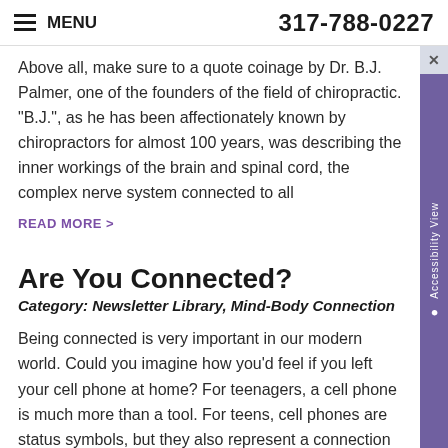MENU | 317-788-0227
Above all, make sure to a quote coinage by Dr. B.J. Palmer, one of the founders of the field of chiropractic. "B.J.", as he has been affectionately known by chiropractors for almost 100 years, was describing the inner workings of the brain and spinal cord, the complex nerve system connected to all
READ MORE >
Are You Connected?
Category: Newsletter Library, Mind-Body Connection
Being connected is very important in our modern world. Could you imagine how you'd feel if you left your cell phone at home? For teenagers, a cell phone is much more than a tool. For teens, cell phones are status symbols, but they also represent a connection to the tribe, a connection to their human